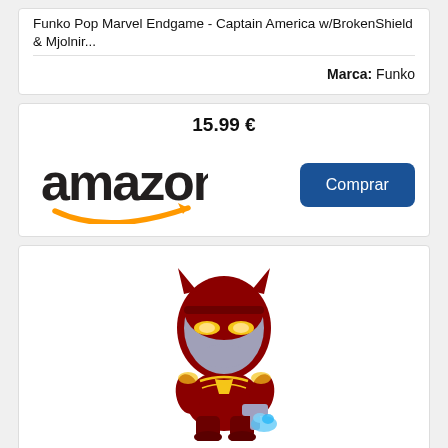Funko Pop Marvel Endgame - Captain America w/BrokenShield & Mjolnir...
Marca: Funko
15.99 €
[Figure (logo): Amazon logo with orange arrow smile]
Comprar
[Figure (photo): Funko Pop Iron Man figure in red and gold armor holding Mjolnir with blue flame, Avengers Endgame]